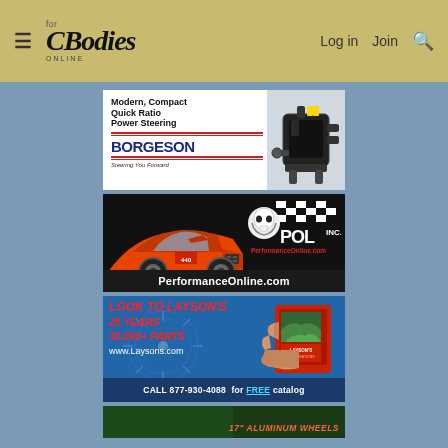For C Bodies Only Online • Log in • Join
[Figure (photo): Borgeson advertisement: Modern, Compact Quick Ratio Power Steering with image of a power steering unit on right. Brand name BORGESON with tagline 'Steering You Forward']
[Figure (photo): POL Inc / PerformanceOnline.com advertisement featuring orange muscle car (Dodge 440) with skull-logo and text PerformanceOnline.com]
[Figure (photo): Layson's Restorations advertisement: 'LOOK TO LAYSON'S, 25 YEARS, 30,000+ PARTS, www.Laysons.com, CALL 877-930-4088 for FREE catalog' with catalog book image]
[Figure (photo): Partial advertisement teaser showing '17' ALUMINUM WHEELS' text in orange italic on dark green background]